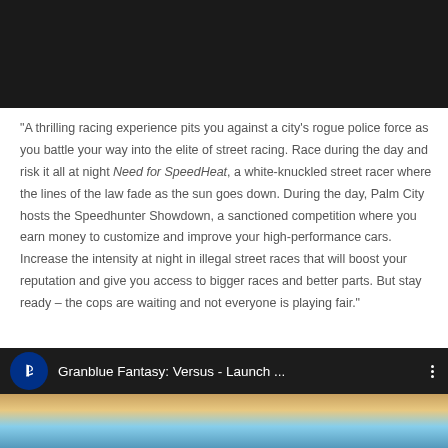[Figure (screenshot): Top portion of a dark/black screenshot, partially cropped at top of page]
“A thrilling racing experience pits you against a city’s rogue police force as you battle your way into the elite of street racing. Race during the day and risk it all at night Need for SpeedHeat, a white-knuckled street racer where the lines of the law fade as the sun goes down. During the day, Palm City hosts the Speedhunter Showdown, a sanctioned competition where you earn money to customize and improve your high-performance cars. Increase the intensity at night in illegal street races that will boost your reputation and give you access to bigger races and better parts. But stay ready – the cops are waiting and not everyone is playing fair.”
Granblue Fantasy: Versus
[Figure (screenshot): YouTube-style video thumbnail for Granblue Fantasy: Versus - Launch ... with PlayStation logo icon on dark bar and anime character thumbnail below]